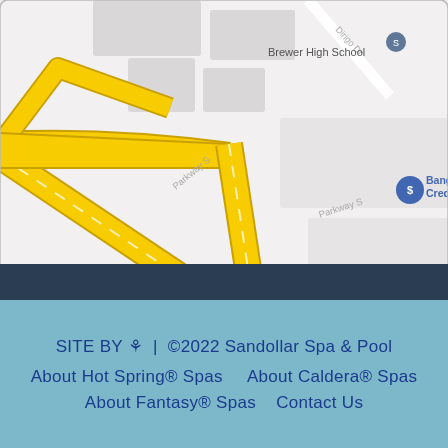[Figure (map): Google Maps screenshot showing the area around Sandollar Spa & Pool in Brewer, Maine. Visible landmarks include Brewer High School, RD Faulkner Corporation, Eastern Maine/Sandollar Spa & Pool pins, Downeast Hori - Brewer C label, Bango Credit label, Interstate 395 highway, Parkway S road, and STONE MASTERS label. Yellow highway roads are prominent.]
SITE BY  | ©2022 Sandollar Spa & Pool  About Hot Spring® Spas    About Caldera® Spas  About Fantasy® Spas    Contact Us